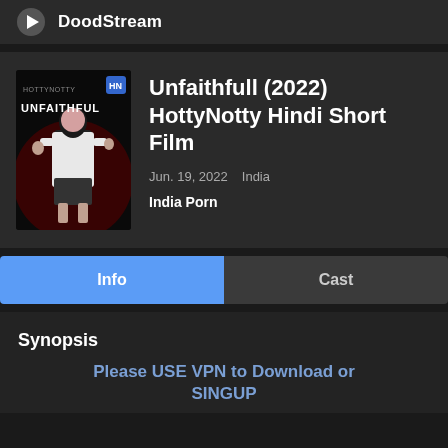DoodStream
Unfaithfull (2022) HottyNotty Hindi Short Film
Jun. 19, 2022   India
India Porn
[Figure (photo): Movie poster for Unfaithful showing a woman in white jacket and short skirt against dark background with red accents and text UNFAITHFUL]
Info
Cast
Synopsis
Please USE VPN to Download or SINGUP